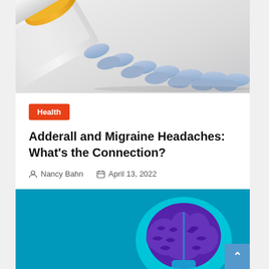[Figure (photo): Blue oval pills spilling out of an orange prescription bottle onto a white surface]
Health
Adderall and Migraine Headaches: What's the Connection?
Nancy Bahn   April 13, 2022
[Figure (illustration): Illustration of a human brain with purple details on a teal/blue background]